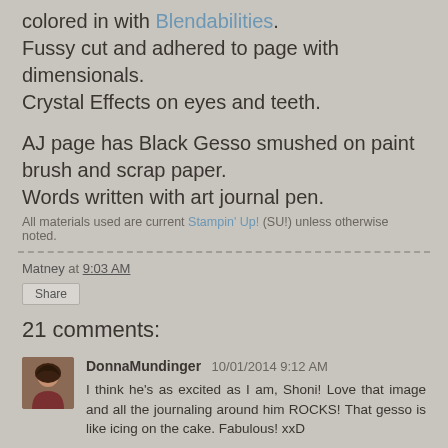colored in with Blendabilities.
Fussy cut and adhered to page with dimensionals.
Crystal Effects on eyes and teeth.

AJ page has Black Gesso smushed on paint brush and scrap paper.
Words written with art journal pen.
All materials used are current Stampin' Up! (SU!) unless otherwise noted.
Matney at 9:03 AM
Share
21 comments:
DonnaMundinger 10/01/2014 9:12 AM
I think he's as excited as I am, Shoni! Love that image and all the journaling around him ROCKS! That gesso is like icing on the cake. Fabulous! xxD